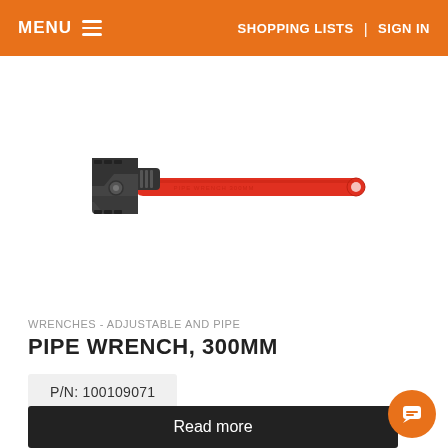MENU   SHOPPING LISTS | SIGN IN
[Figure (photo): Red pipe wrench / adjustable pipe wrench, approximately 300mm in length, with black jaw and adjustment mechanism at the head]
WRENCHES - ADJUSTABLE AND PIPE
PIPE WRENCH, 300MM
P/N: 100109071
Read more